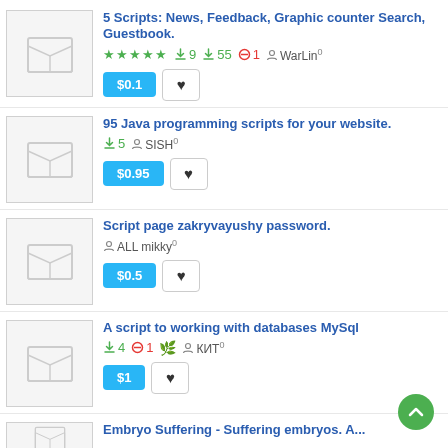5 Scripts: News, Feedback, Graphic counter Search, Guestbook. ★★★★★ 9 downloads 55 blocked 1 WarLin $0.1
95 Java programming scripts for your website. downloads 5 SISH $0.95
Script page zakryvayushy password. ALL mikky $0.5
A script to working with databases MySql downloads 4 blocked 1 КИТ $1
Embryo Suffering - Suffering embryos. A...